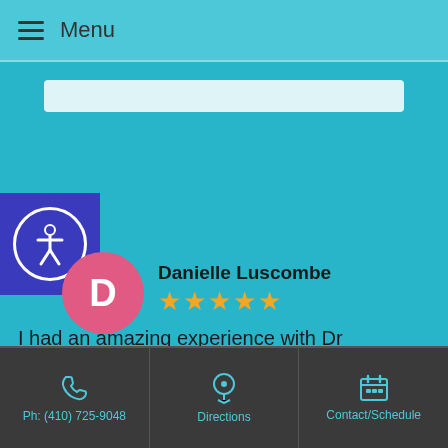Menu
[Figure (screenshot): Accessibility icon - person in circle on blue/purple background]
Danielle Luscombe ★★★★★
I had an amazing experience with Dr Gifford. She spent ample time with me, explained what she was doing, answered
Read more
Posted on
Ph: (410) 725-9048 | Directions | Contact/Schedule